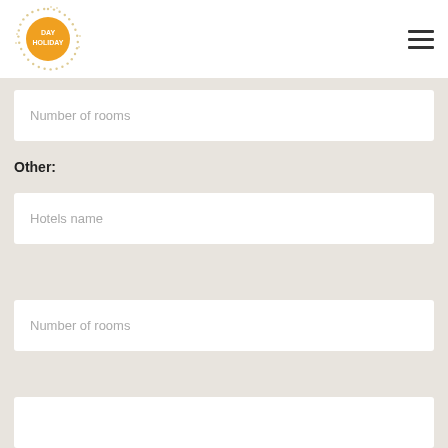[Figure (logo): Day Holiday sun logo with orange circle and radiating dotted rays]
Number of rooms
Other:
Hotels name
Number of rooms